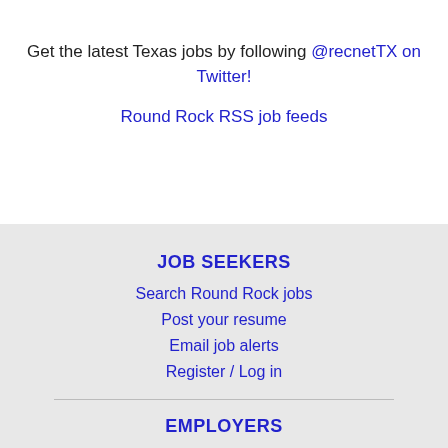Get the latest Texas jobs by following @recnetTX on Twitter!
Round Rock RSS job feeds
JOB SEEKERS
Search Round Rock jobs
Post your resume
Email job alerts
Register / Log in
EMPLOYERS